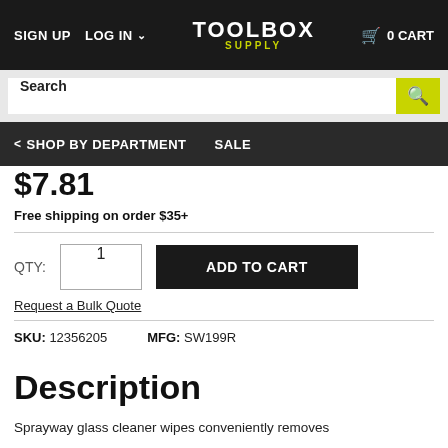SIGN UP  LOG IN  TOOLBOX SUPPLY  0 CART
Search
< SHOP BY DEPARTMENT  SALE
$7.81
Free shipping on order $35+
QTY: 1  ADD TO CART
Request a Bulk Quote
SKU: 12356205  MFG: SW199R
Description
Sprayway glass cleaner wipes conveniently removes